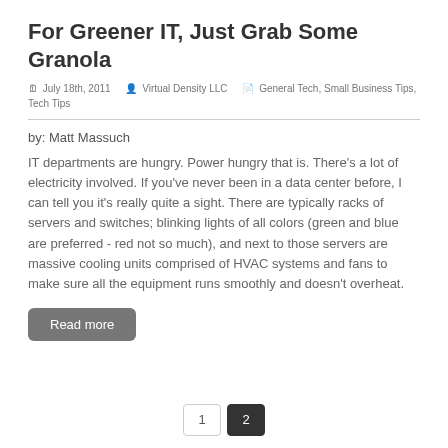For Greener IT, Just Grab Some Granola
July 18th, 2011  Virtual Density LLC  General Tech, Small Business Tips, Tech Tips
by: Matt Massuch
IT departments are hungry. Power hungry that is. There's a lot of electricity involved. If you've never been in a data center before, I can tell you it's really quite a sight. There are typically racks of servers and switches; blinking lights of all colors (green and blue are preferred - red not so much), and next to those servers are massive cooling units comprised of HVAC systems and fans to make sure all the equipment runs smoothly and doesn't overheat.
Read more
1  2